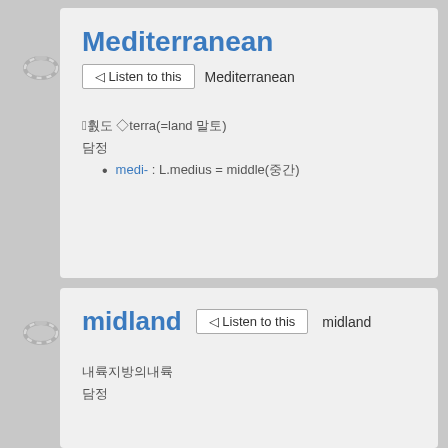Mediterranean
◁ Listen to this  Mediterranean
어원 ◇terra(=land 땅)
어의
medi- : L.medius = middle(중간)
midland
◁ Listen to this  midland
내륙지방의내륙
어의